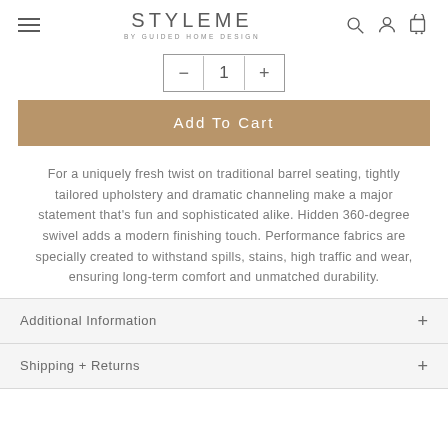STYLEME BY GUIDED HOME DESIGN
— 1 +
Add To Cart
For a uniquely fresh twist on traditional barrel seating, tightly tailored upholstery and dramatic channeling make a major statement that's fun and sophisticated alike. Hidden 360-degree swivel adds a modern finishing touch. Performance fabrics are specially created to withstand spills, stains, high traffic and wear, ensuring long-term comfort and unmatched durability.
Additional Information +
Shipping + Returns +